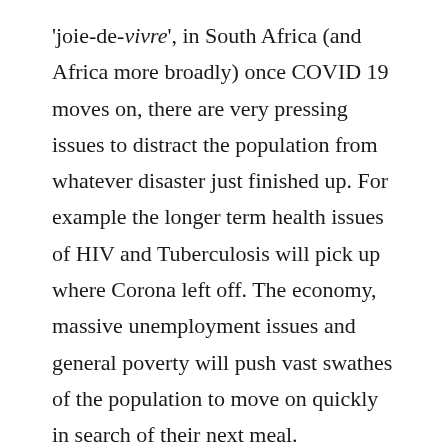'joie-de-vivre', in South Africa (and Africa more broadly) once COVID 19 moves on, there are very pressing issues to distract the population from whatever disaster just finished up. For example the longer term health issues of HIV and Tuberculosis will pick up where Corona left off. The economy, massive unemployment issues and general poverty will push vast swathes of the population to move on quickly in search of their next meal.
South Africa is young in terms of demographics and as a Republic. It's probably true that many South Africans will remember this as a bad flu affecting only older folks. But when South Africa is finally clear of COVID 19, instead of a great celebration and party, there will be